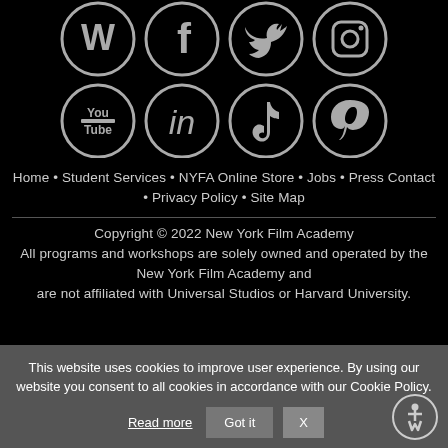[Figure (illustration): Social media icons in dark circles: row 1 with W (Wikipedia?), Facebook, Twitter, Instagram; row 2 with YouTube, LinkedIn, TikTok, Pinterest]
Home • Student Services • NYFA Online Store • Jobs • Press Contact • Privacy Policy • Site Map
Copyright © 2022 New York Film Academy
All programs and workshops are solely owned and operated by the New York Film Academy and are not affiliated with Universal Studios or Harvard University.
This website uses cookies to improve user experience. By using our website you consent to all cookies in accordance with our Cookie Policy.
Read more   Got it   X